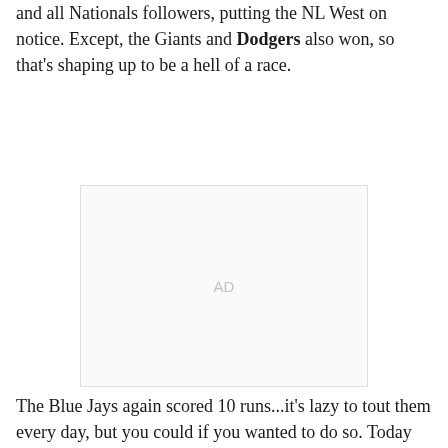and all Nationals followers, putting the NL West on notice. Except, the Giants and Dodgers also won, so that's shaping up to be a hell of a race.
[Figure (other): Advertisement placeholder box with 'AD' label]
The Blue Jays again scored 10 runs...it's lazy to tout them every day, but you could if you wanted to do so. Today they are only on the 3pm three-game slate, though. The Dodgers scored 10 runs at Coors